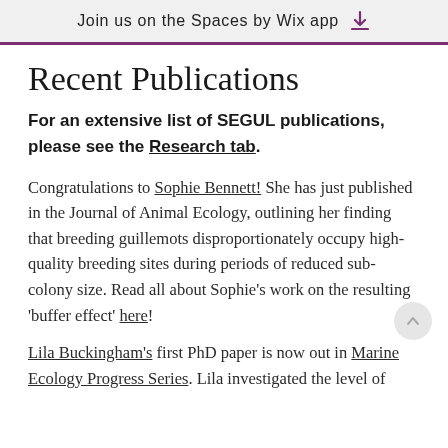Join us on the Spaces by Wix app
Recent Publications
For an extensive list of SEGUL publications, please see the Research tab.
Congratulations to Sophie Bennett! She has just published in the Journal of Animal Ecology, outlining her finding that breeding guillemots disproportionately occupy high-quality breeding sites during periods of reduced sub-colony size. Read all about Sophie's work on the resulting 'buffer effect' here!
Lila Buckingham's first PhD paper is now out in Marine Ecology Progress Series. Lila investigated the level of